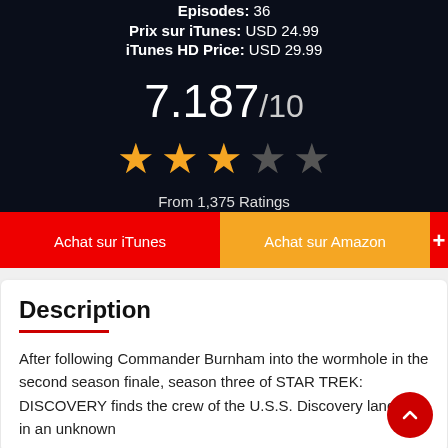Episodes: 36
Prix sur iTunes: USD 24.99
iTunes HD Price: USD 29.99
7.187/10
From 1,375 Ratings
Achat sur iTunes
Achat sur Amazon
+
Description
After following Commander Burnham into the wormhole in the second season finale, season three of STAR TREK: DISCOVERY finds the crew of the U.S.S. Discovery landing in an unknown